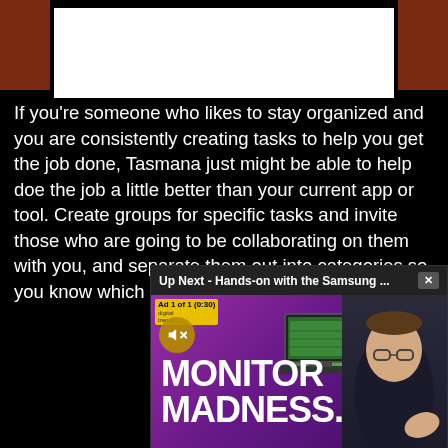[Figure (screenshot): Top portion of a webpage screenshot showing a dark background with brownish-red brick elements on left and right sides and a white content area in the center top.]
If you're someone who likes to stay organized and you are consistently creating tasks to help you get the job done, Tasmana just might be able to help doe the job a little better than your current app or tool. Create groups for specific tasks and invite those who are going to be collaborating on them with you, and separate them out into categories so you know which group is for what task.
[Figure (screenshot): Video overlay in bottom-right corner. Header says 'Up Next - Hands-on with the Samsung ...' with an X close button. Below is a video thumbnail showing an ad (Ad 1 of 1, 0:30) with a purple background, a muted speaker icon, 'MONITOR MADNESS' text in bold white, a laptop screen image, and a person (man with glasses) on the right side.]